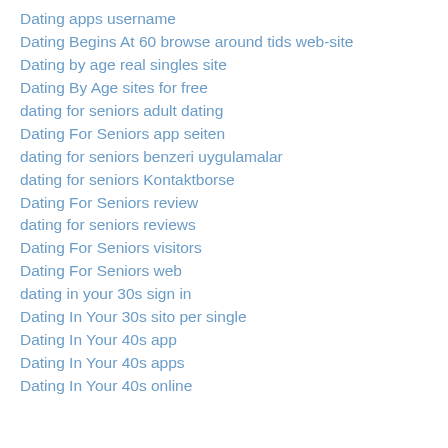Dating apps username
Dating Begins At 60 browse around tids web-site
Dating by age real singles site
Dating By Age sites for free
dating for seniors adult dating
Dating For Seniors app seiten
dating for seniors benzeri uygulamalar
dating for seniors Kontaktborse
Dating For Seniors review
dating for seniors reviews
Dating For Seniors visitors
Dating For Seniors web
dating in your 30s sign in
Dating In Your 30s sito per single
Dating In Your 40s app
Dating In Your 40s apps
Dating In Your 40s online